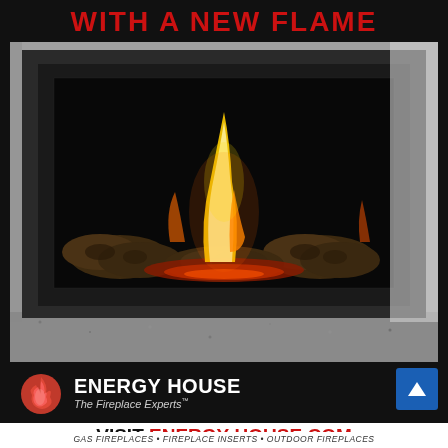WITH A NEW FLAME
[Figure (photo): Gas fireplace insert with realistic-looking logs and orange flame against a dark surround on a granite hearth]
[Figure (logo): Energy House logo — red flame icon with white text 'ENERGY HOUSE' and tagline 'The Fireplace Experts']
VISIT ENERGY-HOUSE.COM
GAS FIREPLACES • FIREPLACE INSERTS • OUTDOOR FIREPLACES